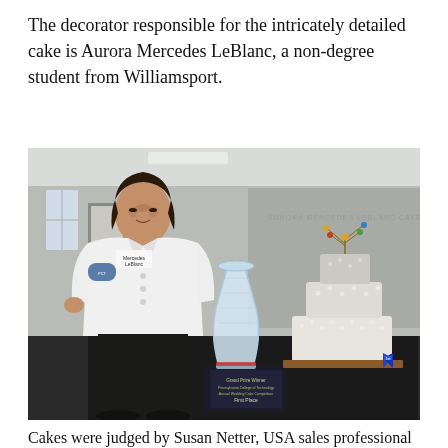The decorator responsible for the intricately detailed cake is Aurora Mercedes LeBlanc, a non-degree student from Williamsport.
[Figure (photo): A woman in a white chef coat (name tag reads 'Mercedes LeBlanc') stands beside a large crystal trophy vase and a multi-tiered white decorated wedding cake with a blue ribbon, in what appears to be a college building interior.]
Cakes were judged by Susan Netter, USA sales professional